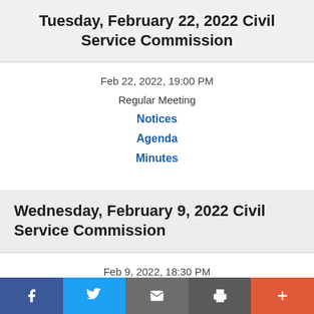Tuesday, February 22, 2022 Civil Service Commission
Feb 22, 2022, 19:00 PM
Regular Meeting
Notices
Agenda
Minutes
Wednesday, February 9, 2022 Civil Service Commission
Feb 9, 2022, 18:30 PM
f  (Twitter bird)  (email)  (print)  +